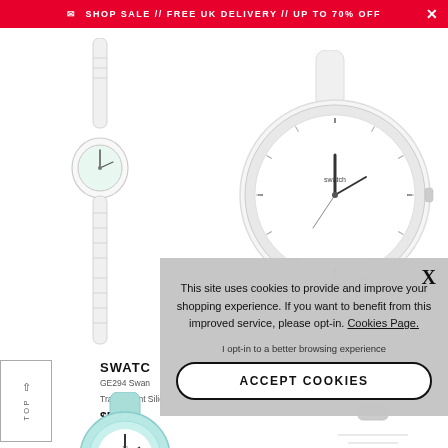SHOP SALE // FREE UK DELIVERY // UP TO 70% OFF
[Figure (photo): Slim white Swatch watch with transparent silicone strap, shown at an angle]
[Figure (photo): Round white Swatch watch with white rubber strap, front view showing analog face]
SWATCH
GE294 Swan Lake Transparent Silice
$55.66
[Figure (photo): Teal/mint colored Swatch watch partially visible at bottom left]
[Figure (photo): Partial view of another watch at bottom right]
This site uses cookies to provide and improve your shopping experience. If you want to benefit from this improved service, please opt-in. Cookies Page.
I opt-in to a better browsing experience
ACCEPT COOKIES